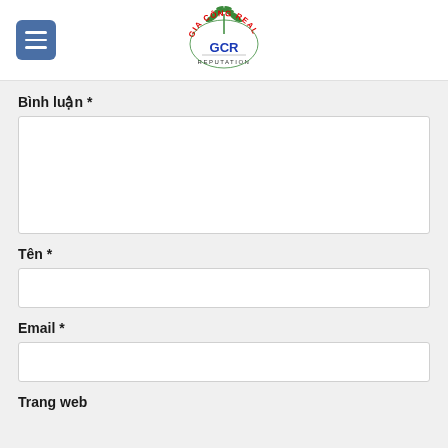[Figure (logo): GCR - Gia Công Real Reputation logo with green plant/grain design on top, red arc text 'GIA CÔNG REAL', blue 'GCR' in center, black 'REPUTATION' at bottom]
Bình luận *
Tên *
Email *
Trang web